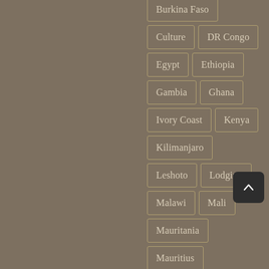Burkina Faso
Culture
DR Congo
Egypt
Ethiopia
Gambia
Ghana
Ivory Coast
Kenya
Kilimanjaro
Leshoto
Lodging
Malawi
Mali
Mauritania
Mauritius
Mini Guides
Morocco